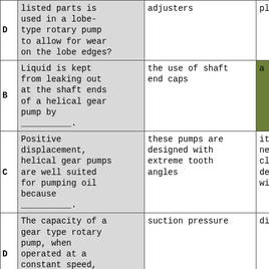|  | Question | Answer A | Answer B (partial) |
| --- | --- | --- | --- |
| D | listed parts is used in a lobe-type rotary pump to allow for wear on the lobe edges? | adjusters | plat… |
| B | Liquid is kept from leaking out at the shaft ends of a helical gear pump by ________. | the use of shaft end caps | a st… |
| C | Positive displacement, helical gear pumps are well suited for pumping oil because ________. | these pumps are designed with extreme tooth angles | it is neces… close… desig… with… |
| D | The capacity of a gear type rotary pump, when operated at a constant speed, will decrease with an increase in the | suction pressure | disc… |